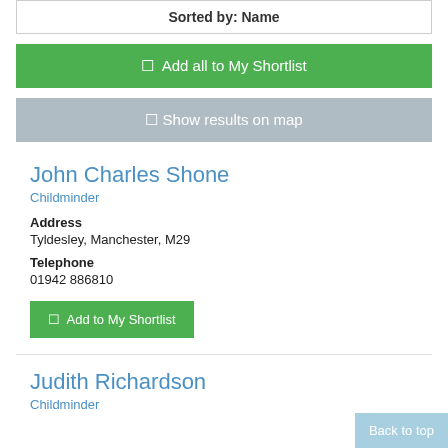Sorted by: Name
☐ Add all to My Shortlist
☐ Show results on map
John Charles Shone
Childminder
Address
Tyldesley, Manchester, M29
Telephone
01942 886810
☐ Add to My Shortlist
Judith Richardson
Childminder
Back to top